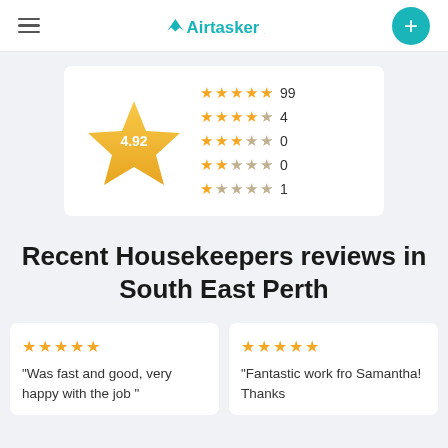[Figure (logo): Airtasker logo with hamburger menu and plus button]
[Figure (infographic): Star rating display showing 4.92 overall with breakdown: 5-star: 99, 4-star: 4, 3-star: 0, 2-star: 0, 1-star: 1]
Recent Housekeepers reviews in South East Perth
"Was fast and good, very happy with the job "
"Fantastic work fro... Samantha! Thanks...